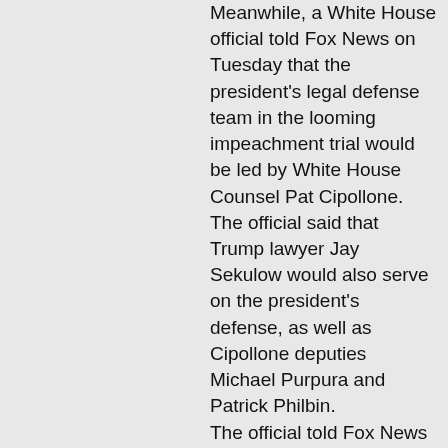Meanwhile, a White House official told Fox News on Tuesday that the president's legal defense team in the looming impeachment trial would be led by White House Counsel Pat Cipollone. The official said that Trump lawyer Jay Sekulow would also serve on the president's defense, as well as Cipollone deputies Michael Purpura and Patrick Philbin. The official told Fox News that other attorneys could cycle through or be on the floor in a support capacity, but that those details and types of decisions will be made by the president if and when he deems necessary. After several days of procedural steps later this week, the Senate is poised to launch into the heart of the impeachment trial as early as next Tuesday. McConnell on Tuesday shot down the idea being floated by the president's allies that an...